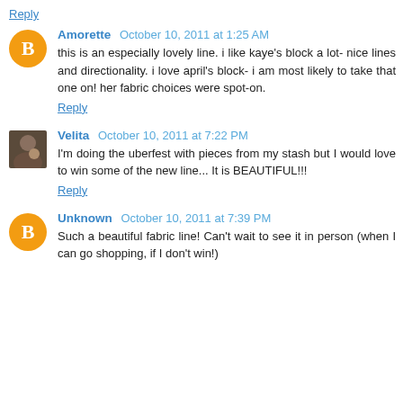Reply
Amorette October 10, 2011 at 1:25 AM
this is an especially lovely line. i like kaye's block a lot- nice lines and directionality. i love april's block- i am most likely to take that one on! her fabric choices were spot-on.
Reply
Velita October 10, 2011 at 7:22 PM
I'm doing the uberfest with pieces from my stash but I would love to win some of the new line... It is BEAUTIFUL!!!
Reply
Unknown October 10, 2011 at 7:39 PM
Such a beautiful fabric line! Can't wait to see it in person (when I can go shopping, if I don't win!)